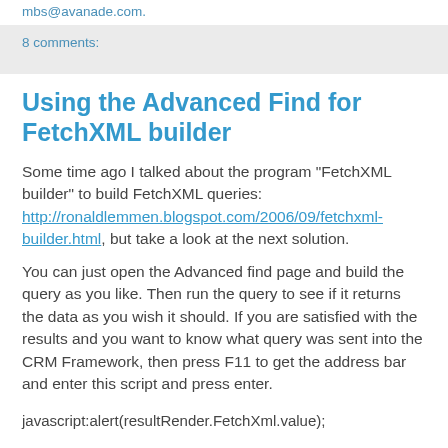mbs@avanade.com.
8 comments:
Using the Advanced Find for FetchXML builder
Some time ago I talked about the program "FetchXML builder" to build FetchXML queries: http://ronaldlemmen.blogspot.com/2006/09/fetchxml-builder.html, but take a look at the next solution.
You can just open the Advanced find page and build the query as you like. Then run the query to see if it returns the data as you wish it should. If you are satisfied with the results and you want to know what query was sent into the CRM Framework, then press F11 to get the address bar and enter this script and press enter.
javascript:alert(resultRender.FetchXml.value);